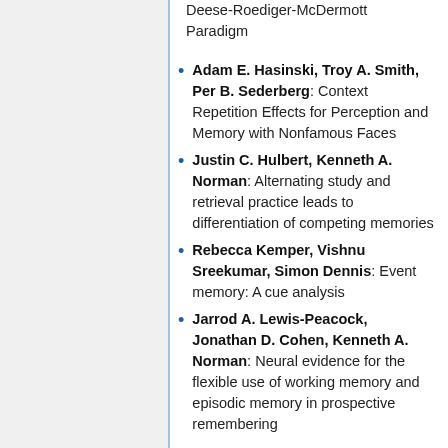Deese-Roediger-McDermott Paradigm
Adam E. Hasinski, Troy A. Smith, Per B. Sederberg: Context Repetition Effects for Perception and Memory with Nonfamous Faces
Justin C. Hulbert, Kenneth A. Norman: Alternating study and retrieval practice leads to differentiation of competing memories
Rebecca Kemper, Vishnu Sreekumar, Simon Dennis: Event memory: A cue analysis
Jarrod A. Lewis-Peacock, Jonathan D. Cohen, Kenneth A. Norman: Neural evidence for the flexible use of working memory and episodic memory in prospective remembering